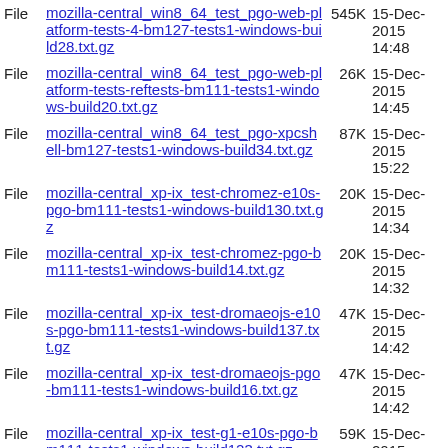File mozilla-central_win8_64_test_pgo-web-platform-tests-4-bm127-tests1-windows-build28.txt.gz 545K 15-Dec-2015 14:48
File mozilla-central_win8_64_test_pgo-web-platform-tests-reftests-bm111-tests1-windows-build20.txt.gz 26K 15-Dec-2015 14:45
File mozilla-central_win8_64_test_pgo-xpcshell-bm127-tests1-windows-build34.txt.gz 87K 15-Dec-2015 15:22
File mozilla-central_xp-ix_test-chromez-e10s-pgo-bm111-tests1-windows-build130.txt.gz 20K 15-Dec-2015 14:34
File mozilla-central_xp-ix_test-chromez-pgo-bm111-tests1-windows-build14.txt.gz 20K 15-Dec-2015 14:32
File mozilla-central_xp-ix_test-dromaeojs-e10s-pgo-bm111-tests1-windows-build137.txt.gz 47K 15-Dec-2015 14:42
File mozilla-central_xp-ix_test-dromaeojs-pgo-bm111-tests1-windows-build16.txt.gz 47K 15-Dec-2015 14:42
File mozilla-central_xp-ix_test-g1-e10s-pgo-bm111-tests1-windows-build123.txt.gz 59K 15-Dec-2015 14:52